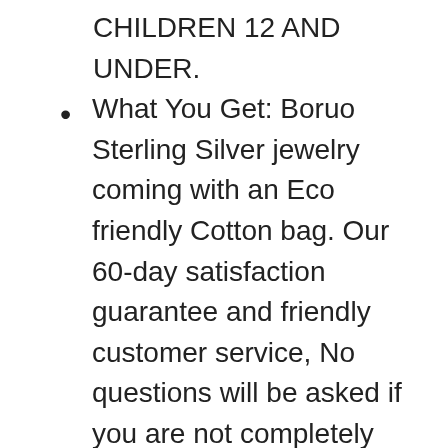CHILDREN 12 AND UNDER.
What You Get: Boruo Sterling Silver jewelry coming with an Eco friendly Cotton bag. Our 60-day satisfaction guarantee and friendly customer service, No questions will be asked if you are not completely satisfied with the product and want to return it.
Please choose the correct size before place the order to avoid Return or Exchange. The paper measurement is intended for reference only. We would like to